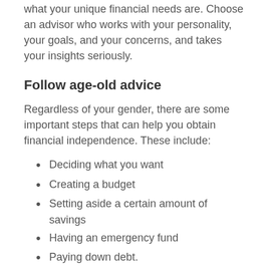what your unique financial needs are. Choose an advisor who works with your personality, your goals, and your concerns, and takes your insights seriously.
Follow age-old advice
Regardless of your gender, there are some important steps that can help you obtain financial independence. These include:
Deciding what you want
Creating a budget
Setting aside a certain amount of savings
Having an emergency fund
Paying down debt.
Think of your retirement